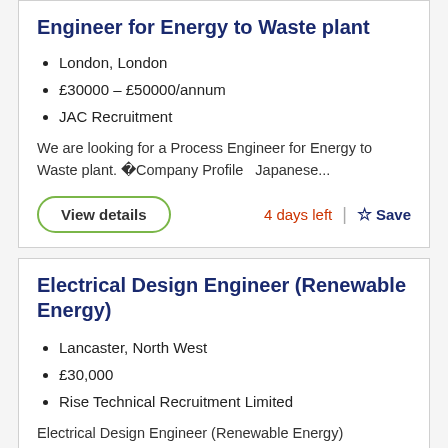Engineer for Energy to Waste plant
London, London
£30000 - £50000/annum
JAC Recruitment
We are looking for a Process Engineer for Energy to Waste plant. Company Profile  Japanese...
View details
4 days left
Save
Electrical Design Engineer (Renewable Energy)
Lancaster, North West
£30,000
Rise Technical Recruitment Limited
Electrical Design Engineer (Renewable Energy)